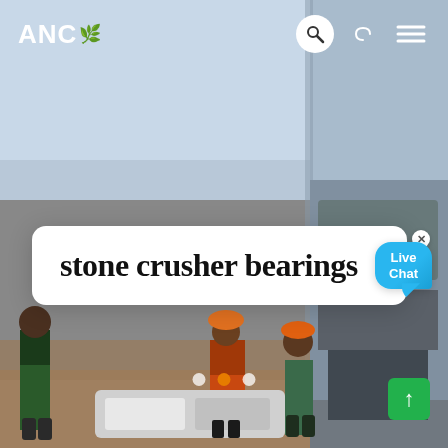[Figure (screenshot): Website screenshot showing ANC logo and navigation bar at top on a construction site photo background. Workers in hard hats stand near stone crusher machinery. A search overlay card reads 'stone crusher bearings'. A live chat bubble floats in the top right of the card. Dot carousel indicators are visible at the bottom. A green scroll-to-top button is in the bottom right corner.]
ANC
stone crusher bearings